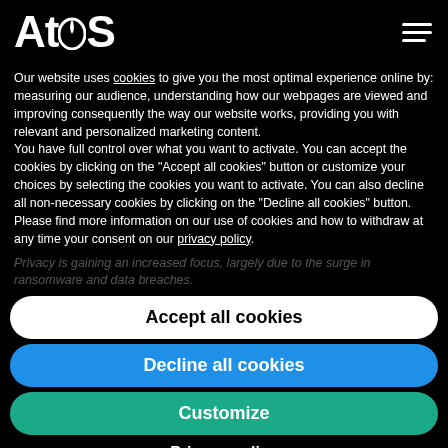Atos
Our website uses cookies to give you the most optimal experience online by: measuring our audience, understanding how our webpages are viewed and improving consequently the way our website works, providing you with relevant and personalized marketing content.
You have full control over what you want to activate. You can accept the cookies by clicking on the "Accept all cookies" button or customize your choices by selecting the cookies you want to activate. You can also decline all non-necessary cookies by clicking on the "Decline all cookies" button. Please find more information on our use of cookies and how to withdraw at any time your consent on our privacy policy.
Privacy is gaining an increased focus, largely due to the surge in ransomware and data breaches.
Accept all cookies
Decline all cookies
Customize
Privacy policy
government to do so.